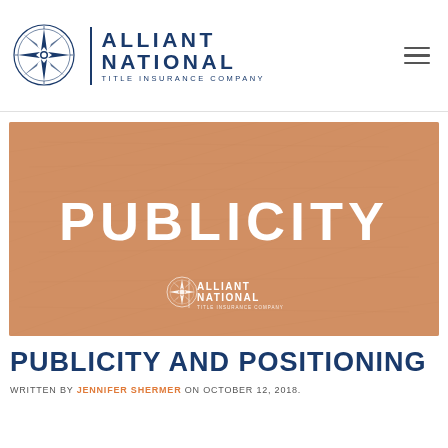[Figure (logo): Alliant National Title Insurance Company logo with compass rose and company name in navy blue]
[Figure (photo): Hero banner image with warm orange/tan background showing the word PUBLICITY in large white bold letters, with Alliant National Title Insurance Company logo below]
PUBLICITY AND POSITIONING
WRITTEN BY JENNIFER SHERMER ON OCTOBER 12, 2018.